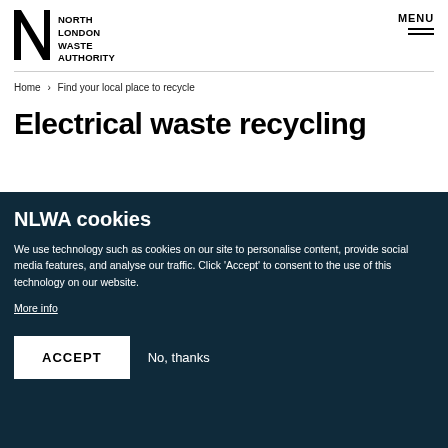[Figure (logo): North London Waste Authority logo with N graphic and text]
Home > Find your local place to recycle
Electrical waste recycling
NLWA cookies
We use technology such as cookies on our site to personalise content, provide social media features, and analyse our traffic. Click 'Accept' to consent to the use of this technology on our website.
More info
ACCEPT   No, thanks